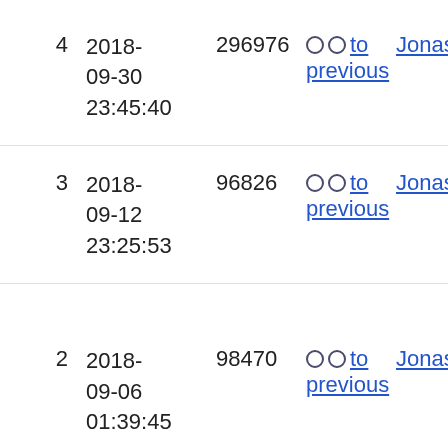| # | Date | ID | Options | User |
| --- | --- | --- | --- | --- |
| 4 | 2018-09-30 23:45:40 | 296976 | ○ ○ to previous | JonasSm… |
| 3 | 2018-09-12 23:25:53 | 96826 | ○ ○ to previous | JonasSm… |
| 2 | 2018-09-06 01:39:45 | 98470 | ○ ○ to previous | JonasSm… |